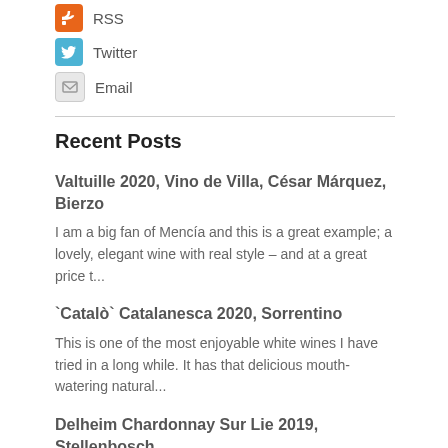RSS
Twitter
Email
Recent Posts
Valtuille 2020, Vino de Villa, César Márquez, Bierzo
I am a big fan of Mencía and this is a great example; a lovely, elegant wine with real style – and at a great price t...
`Catalò` Catalanesca 2020, Sorrentino
This is one of the most enjoyable white wines I have tried in a long while. It has that delicious mouth-watering natural...
Delheim Chardonnay Sur Lie 2019, Stellenbosch